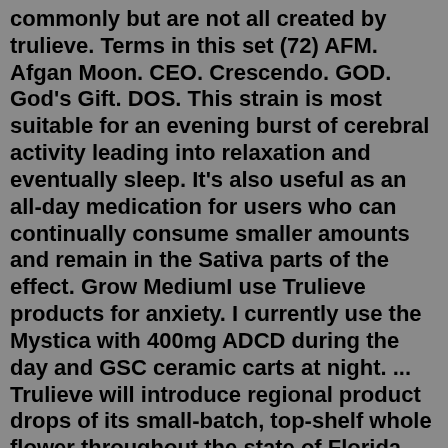commonly but are not all created by trulieve. Terms in this set (72) AFM. Afgan Moon. CEO. Crescendo. GOD. God's Gift. DOS. This strain is most suitable for an evening burst of cerebral activity leading into relaxation and eventually sleep. It's also useful as an all-day medication for users who can continually consume smaller amounts and remain in the Sativa parts of the effect. Grow MediumI use Trulieve products for anxiety. I currently use the Mystica with 400mg ADCD during the day and GSC ceramic carts at night. ... Trulieve will introduce regional product drops of its small-batch, top-shelf whole flower throughout the state of Florida.. "/>. . "/> Apr 07, 2022 · ... 2022 · TruClear is a pure cannabis oil extract concentrate. Strain Type. Indica. Sativa. Sativa Dominant. Indica Dominant. Hybrid. CBD THC Balanced. ... Trulieve Average Rating: 4.30 out of 5 Showing 1–24 of 221 results. 1 ... TRULIEVE TRUCRMBL SKYWALKER OG STRAIN REVIEW #FLORIDADABCREW #FLMMJCOLLECTIVE This was amazing as well as the terp profile! But it